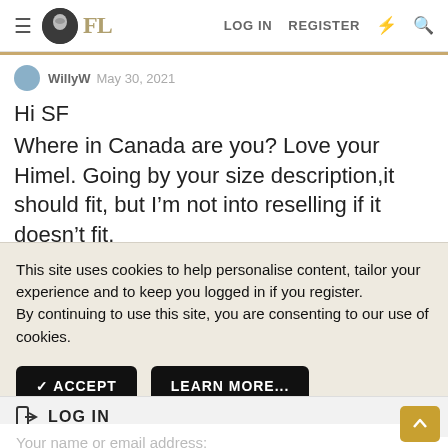FL — LOG IN   REGISTER
WillyW · May 30, 2021
Hi SF
Where in Canada are you? Love your Himel. Going by your size description,it should fit, but I'm not into reselling if it doesn't fit.
This site uses cookies to help personalise content, tailor your experience and to keep you logged in if you register.
By continuing to use this site, you are consenting to our use of cookies.
✓  ACCEPT    LEARN MORE...
➜ LOG IN
Your name or email address: